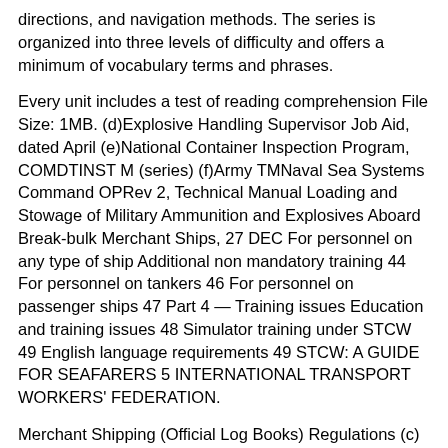directions, and navigation methods. The series is organized into three levels of difficulty and offers a minimum of vocabulary terms and phrases.
Every unit includes a test of reading comprehension File Size: 1MB. (d)Explosive Handling Supervisor Job Aid, dated April (e)National Container Inspection Program, COMDTINST M (series) (f)Army TMNaval Sea Systems Command OPRev 2, Technical Manual Loading and Stowage of Military Ammunition and Explosives Aboard Break-bulk Merchant Ships, 27 DEC For personnel on any type of ship Additional non mandatory training 44 For personnel on tankers 46 For personnel on passenger ships 47 Part 4 — Training issues Education and training issues 48 Simulator training under STCW 49 English language requirements 49 STCW: A GUIDE FOR SEAFARERS 5 INTERNATIONAL TRANSPORT WORKERS' FEDERATION.
Merchant Shipping (Official Log Books) Regulations (c) in column 1 of each relevant paragraph of Part IV of that Schedule shall be so made in the official log book kept in any passenger ship referred to in